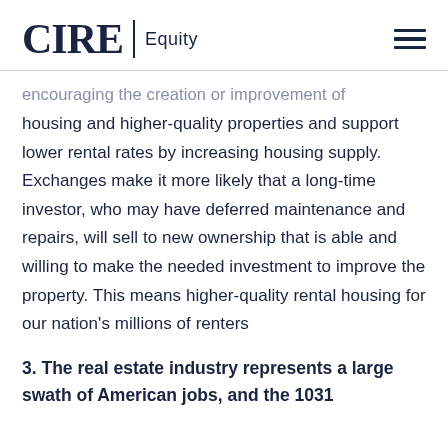CIRE | Equity
encouraging the creation or improvement of housing and higher-quality properties and support lower rental rates by increasing housing supply. Exchanges make it more likely that a long-time investor, who may have deferred maintenance and repairs, will sell to new ownership that is able and willing to make the needed investment to improve the property. This means higher-quality rental housing for our nation's millions of renters
3. The real estate industry represents a large swath of American jobs, and the 1031